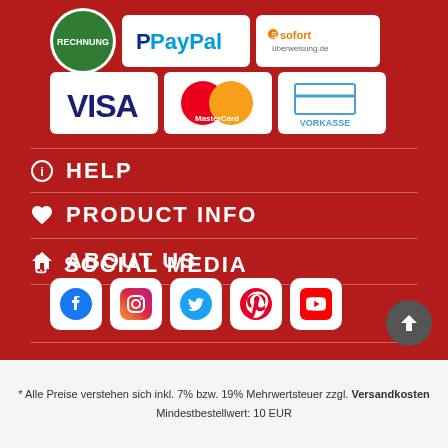[Figure (logo): Payment method logos: RECHNUNG, PayPal, Sofort Überweisung, VISA, MasterCard, VORKASSE]
HELP
PRODUCT INFO
ABOUT US
SOCIAL MEDIA
[Figure (logo): Social media icons: Facebook, Instagram, Twitter, Pinterest, YouTube]
* Alle Preise verstehen sich inkl. 7% bzw. 19% Mehrwertsteuer zzgl. Versandkosten Mindestbestellwert: 10 EUR